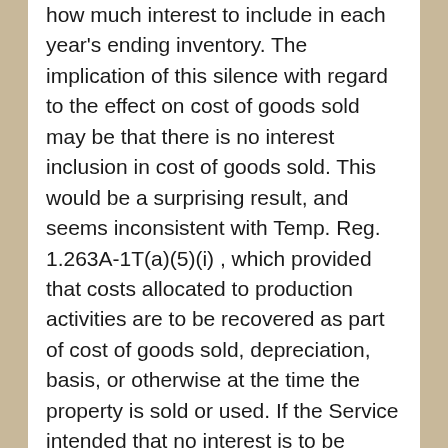how much interest to include in each year's ending inventory. The implication of this silence with regard to the effect on cost of goods sold may be that there is no interest inclusion in cost of goods sold. This would be a surprising result, and seems inconsistent with Temp. Reg. 1.263A-1T(a)(5)(i) , which provided that costs allocated to production activities are to be recovered as part of cost of goods sold, depreciation, basis, or otherwise at the time the property is sold or used. If the Service intended that no interest is to be included in cost of goods sold under the simplified inventory method, it would seem that this should have been made explicit.
Apart from the simplified inventory method,